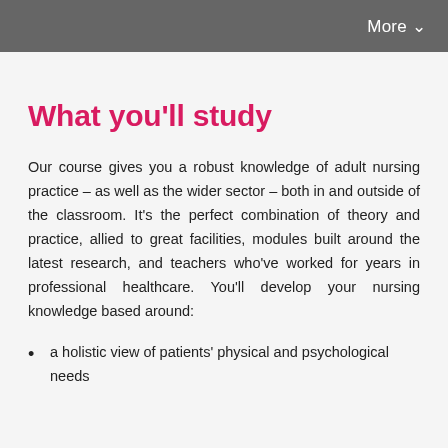More ∨
What you'll study
Our course gives you a robust knowledge of adult nursing practice – as well as the wider sector – both in and outside of the classroom. It's the perfect combination of theory and practice, allied to great facilities, modules built around the latest research, and teachers who've worked for years in professional healthcare. You'll develop your nursing knowledge based around:
a holistic view of patients' physical and psychological needs